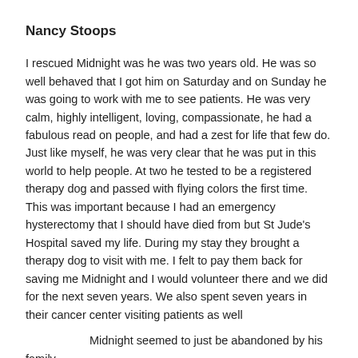Nancy Stoops
I rescued Midnight was he was two years old.  He was so well behaved that I got him on Saturday and on Sunday he was going to work with me to see patients.  He was very calm, highly intelligent, loving, compassionate, he had a fabulous read on people, and had a zest for life that few do. Just like myself, he was very clear that he was put in this world to help people.  At two he tested to be a registered therapy dog and passed with flying colors the first time.  This was important because I had an emergency hysterectomy that I should have died from but St Jude's Hospital saved my life. During my stay they brought a therapy dog to visit with me.  I felt to pay them back for saving me Midnight and I would volunteer there and we did for the next seven years.  We also spent seven years in their cancer center visiting patients as well
Midnight seemed to just be abandoned by his family